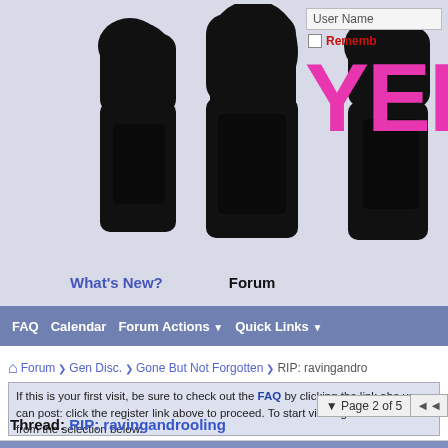[Figure (illustration): Black and white silhouette illustration of rock band members (3-4 people with long hair)]
YEES
User Name
Remember
What's New?   Forum
FAQ   Calendar   Forum Actions ▼   Quick Links ▼
Forum ❯ Gen Disc. ❯ Gone But Not Forgotten ❯ RIP: ravingandr
If this is your first visit, be sure to check out the FAQ by clicking the link abo... you can post: click the register link above to proceed. To start viewing messa... visit from the selection below.
▼ Page 2 of 5  ◄◄
Thread: RIP: ravingandrooling
2015-09-06,   11:26 PM
[Figure (photo): Small avatar photo, dark image with an animal figure]